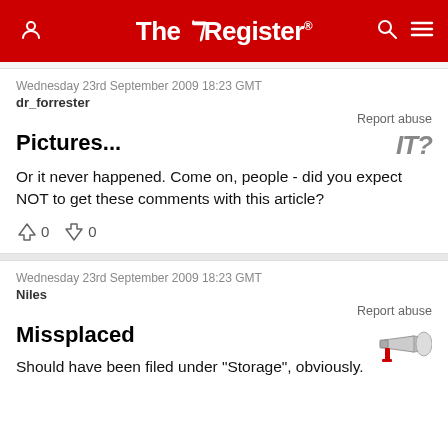The Register
Wednesday 23rd September 2009 18:23 GMT
dr_forrester
Report abuse
Pictures...
Or it never happened. Come on, people - did you expect NOT to get these comments with this article?
0  0
Wednesday 23rd September 2009 18:23 GMT
Niles
Report abuse
Missplaced
Should have been filed under "Storage", obviously.